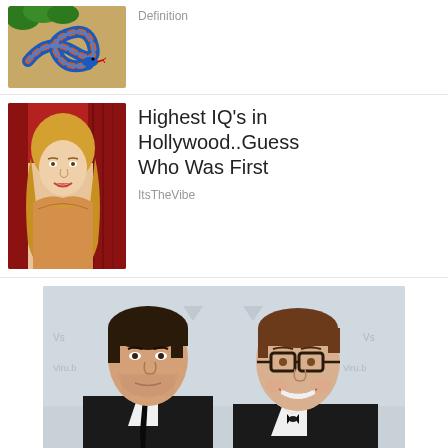[Figure (photo): Colorful snake (blue, orange, red scales) on sandy ground - thumbnail image]
Definition
[Figure (photo): Blonde woman smiling, wearing a low-cut top, against a red background - thumbnail image]
Highest IQ's in Hollywood..Guess Who Was First
ItsTheVibe
[Figure (photo): Two men in formal attire (tuxedo/suit) posing together at an event, one with glasses]